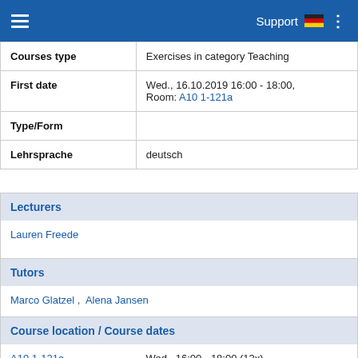Support
| Courses type | Exercises in category Teaching |
| First date | Wed., 16.10.2019 16:00 - 18:00, Room: A10 1-121a |
| Type/Form |  |
| Lehrsprache | deutsch |
Lecturers
Lauren Freede
Tutors
Marco Glatzel ,  Alena Jansen
Course location / Course dates
A10 1-121a   Wed.. 16:00 - 18:00 (13x)